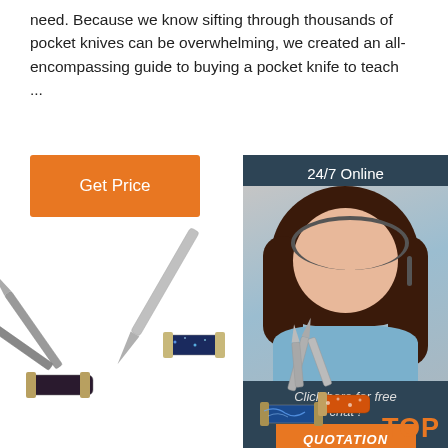need. Because we know sifting through thousands of pocket knives can be overwhelming, we created an all-encompassing guide to buying a pocket knife to teach ...
[Figure (other): Orange 'Get Price' button]
[Figure (other): Customer service sidebar with '24/7 Online' header, photo of woman with headset, 'Click here for free chat!' text, and orange 'QUOTATION' button]
[Figure (photo): Collection of various open pocket knives with different handle colors (dark blue glitter, black/purple, blue swirl, orange) on white background]
[Figure (other): Orange 'TOP' badge in bottom right corner]